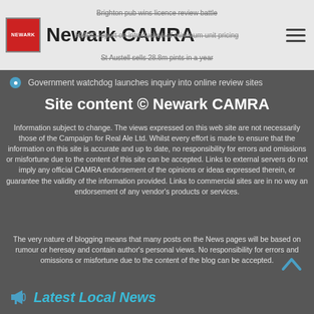Newark CAMRA
Brighton pub wins licence review battle
HMRC report on introduction of minimum unit pricing
St Austell sells 28.8m pints in a year
Government watchdog launches inquiry into online review sites
Site content © Newark CAMRA
Information subject to change. The views expressed on this web site are not necessarily those of the Campaign for Real Ale Ltd. Whilst every effort is made to ensure that the information on this site is accurate and up to date, no responsibility for errors and omissions or misfortune due to the content of this site can be accepted. Links to external servers do not imply any official CAMRA endorsement of the opinions or ideas expressed therein, or guarantee the validity of the information provided. Links to commercial sites are in no way an endorsement of any vendor's products or services.
The very nature of blogging means that many posts on the News pages will be based on rumour or heresay and contain author's personal views. No responsibility for errors and omissions or misfortune due to the content of the blog can be accepted.
Latest Local News